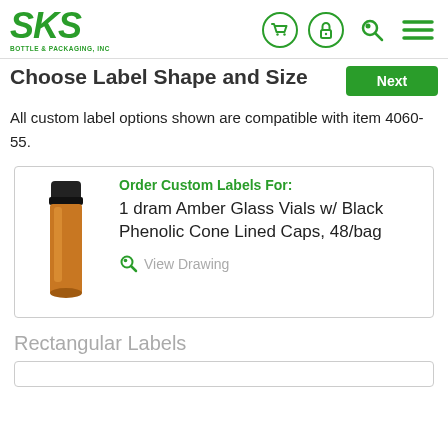SKS BOTTLE & PACKAGING, INC — navigation header with cart, lock, search, and menu icons
Choose Label Shape and Size
All custom label options shown are compatible with item 4060-55.
[Figure (photo): Product card showing 1 dram Amber Glass Vial with Black Phenolic Cone Lined Cap. Order Custom Labels For: 1 dram Amber Glass Vials w/ Black Phenolic Cone Lined Caps, 48/bag. View Drawing link.]
Rectangular Labels